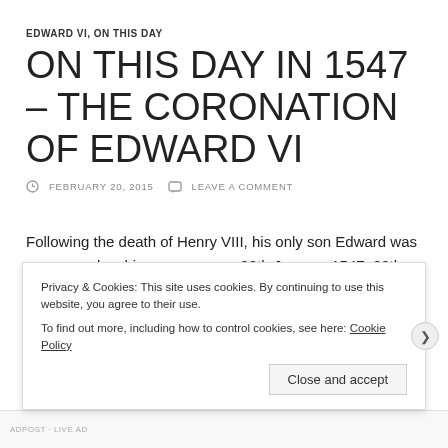EDWARD VI, ON THIS DAY
ON THIS DAY IN 1547 – THE CORONATION OF EDWARD VI
FEBRUARY 20, 2015   LEAVE A COMMENT
Following the death of Henry VIII, his only son Edward was announced as his successor on 28th January 1547. 20th February 1547 saw the day that Edward was crowned King...
Privacy & Cookies: This site uses cookies. By continuing to use this website, you agree to their use.
To find out more, including how to control cookies, see here: Cookie Policy
Close and accept